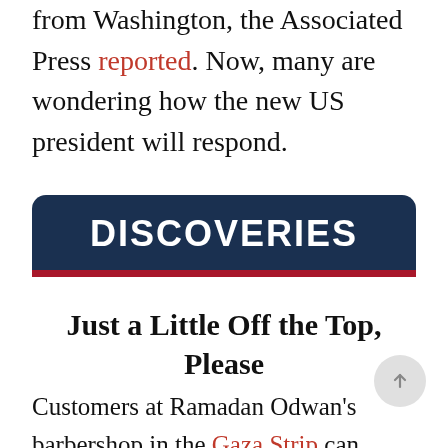from Washington, the Associated Press reported. Now, many are wondering how the new US president will respond.
DISCOVERIES
Just a Little Off the Top, Please
Customers at Ramadan Odwan's barbershop in the Gaza Strip can forget about using a blow drier to straighten their hair.